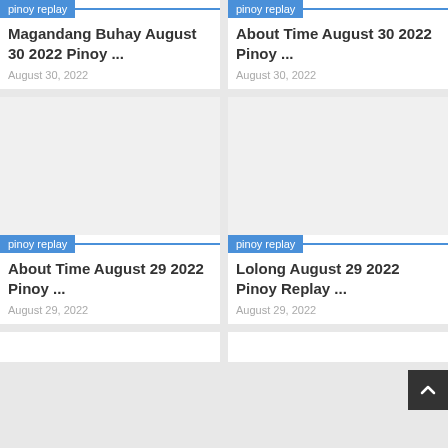[Figure (screenshot): Card with 'pinoy replay' tag, title 'Magandang Buhay August 30 2022 Pinoy ...', date 'August 30, 2022']
[Figure (screenshot): Card with 'pinoy replay' tag, title 'About Time August 30 2022 Pinoy ...', date 'August 30, 2022']
[Figure (screenshot): Card with image area and 'pinoy replay' tag, title 'About Time August 29 2022 Pinoy ...', date 'August 29, 2022']
[Figure (screenshot): Card with image area and 'pinoy replay' tag, title 'Lolong August 29 2022 Pinoy Replay ...', date 'August 29, 2022']
[Figure (screenshot): Partial card row at bottom, cut off]
[Figure (screenshot): Partial card row at bottom, cut off]